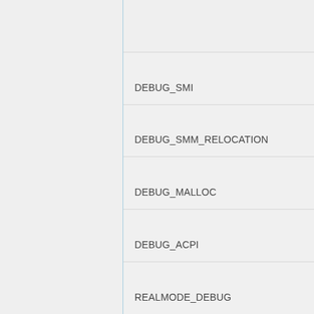DEBUG_SMI
DEBUG_SMM_RELOCATION
DEBUG_MALLOC
DEBUG_ACPI
REALMODE_DEBUG